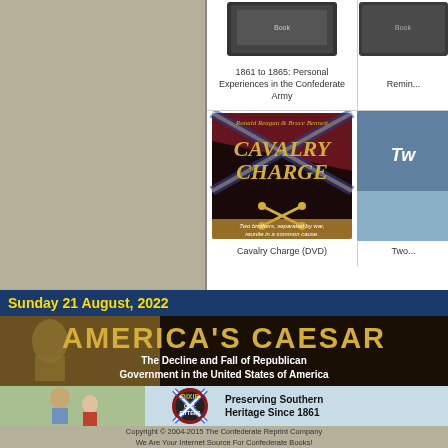[Figure (photo): Book product: '1861 to 1865: Personal Experiences in the Confederate Army' shown as dark book cover thumbnail at top of product panel]
1861 to 1865: Personal Experiences in the Confederate Army
[Figure (photo): Partially visible book/DVD cover at top right of product panel, title starting with 'Remin']
Remin...
[Figure (photo): Book cover for 'Cavalry Charge' DVD by Ronald Reagan & Bruce Bennett - shows Confederate flag, cavalry swords, subtitle 'Two brothers, separated by war, reunite in a common cause.']
Cavalry Charge (DVD)
[Figure (photo): Partially visible movie poster on right side, title starting with 'Tw']
Two...
Sunday 21 August, 2022
[Figure (illustration): America's Caesar banner - dark background with gold/yellow large text 'AMERICA'S CAESAR' and subtitle 'The Decline and Fall of Republican Government in the United States of America']
[Figure (illustration): Dixie Outfitters banner showing people in outdoor scene on left, circular logo in center, text 'Preserving Southern Heritage Since 1861' on right]
Copyright © 2004-2015 The Confederate Reprint Company
We Are Your Internet Source For Confederate Books!